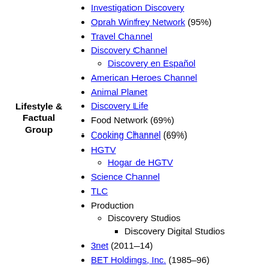Investigation Discovery
Oprah Winfrey Network (95%)
Travel Channel
Lifestyle & Factual Group
Discovery Channel
Discovery en Español
American Heroes Channel
Animal Planet
Discovery Life
Food Network (69%)
Cooking Channel (69%)
HGTV
Hogar de HGTV
Science Channel
TLC
Production
Discovery Studios
Discovery Digital Studios
3net (2011–14)
BET Holdings, Inc. (1985–96)
C4 (2003–14)
Canal 8 Sport (2012–15)
Comedy Central (1991–2004)
Discovery Civilization (2005–21)